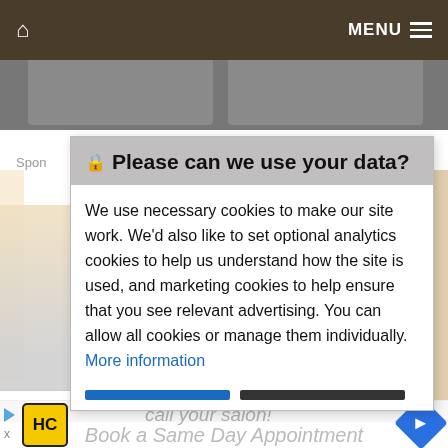🏠  MENU ≡
[Figure (screenshot): Two image thumbnails side by side below the navigation bar, partially visible, gray background]
Spon
🔒 Please can we use your data?
We use necessary cookies to make our site work. We'd also like to set optional analytics cookies to help us understand how the site is used, and marketing cookies to help ensure that you see relevant advertising. You can allow all cookies or manage them individually. More information
[Figure (screenshot): Cookie consent dialog with allow and manage buttons at the bottom]
call your salon!
[Figure (logo): HC logo in black on yellow background, square with rounded corners]
Book a Same Day Appointment